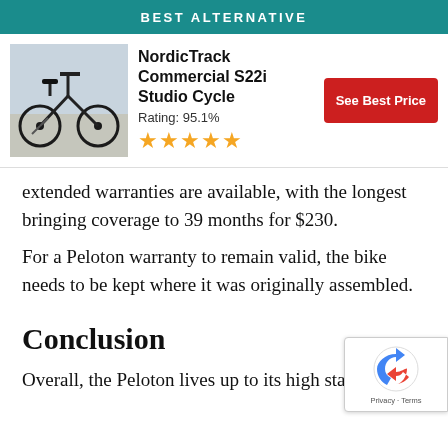BEST ALTERNATIVE
[Figure (infographic): Product card: NordicTrack Commercial S22i Studio Cycle with photo, rating 95.1%, 5 stars, and 'See Best Price' red button]
extended warranties are available, with the longest bringing coverage to 39 months for $230.
For a Peloton warranty to remain valid, the bike needs to be kept where it was originally assembled.
Conclusion
Overall, the Peloton lives up to its high status and